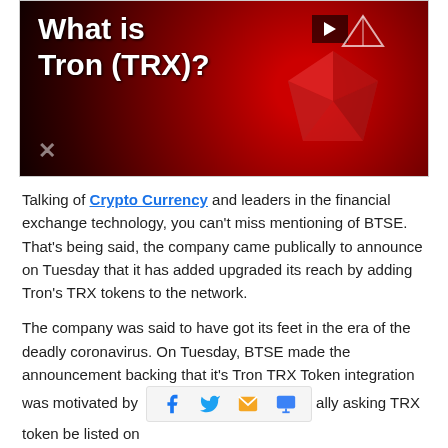[Figure (screenshot): Thumbnail image for a video titled 'What is Tron (TRX)?' on a dark red background with a geometric red crystal/diamond shape and a triangle logo icon. A play button is visible in the upper right area.]
Talking of Crypto Currency and leaders in the financial exchange technology, you can't miss mentioning of BTSE. That's being said, the company came publically to announce on Tuesday that it has added upgraded its reach by adding Tron's TRX tokens to the network.
The company was said to have got its feet in the era of the deadly coronavirus. On Tuesday, BTSE made the announcement backing that it's Tron TRX Token integration was motivated by [share bar] ally asking TRX token be listed on [continued]